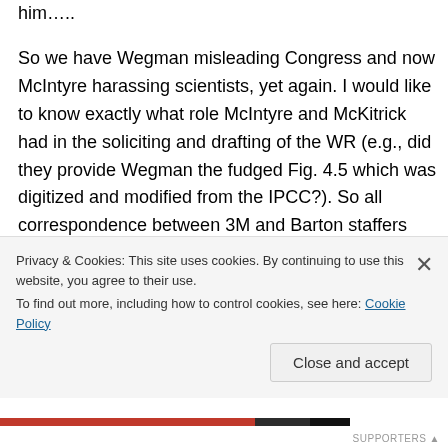him…..
So we have Wegman misleading Congress and now McIntyre harassing scientists, yet again. I would like to know exactly what role McIntyre and McKitrick had in the soliciting and drafting of the WR (e.g., did they provide Wegman the fudged Fig. 4.5 which was digitized and modified from the IPCC?). So all correspondence between 3M and Barton staffers and Wegman and others involved please….McIntyre after all assures us that he has nothing to hide, and is
Privacy & Cookies: This site uses cookies. By continuing to use this website, you agree to their use.
To find out more, including how to control cookies, see here: Cookie Policy